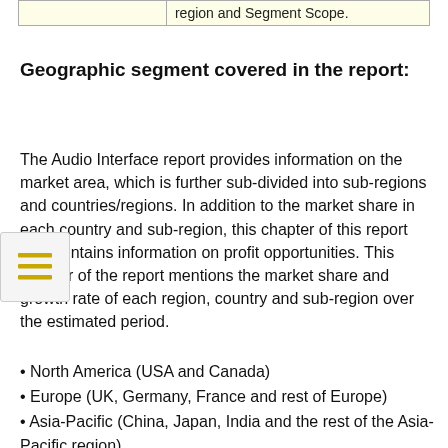|  | region and Segment Scope. |
| --- | --- |
Geographic segment covered in the report:
The Audio Interface report provides information on the market area, which is further sub-divided into sub-regions and countries/regions. In addition to the market share in each country and sub-region, this chapter of this report also contains information on profit opportunities. This chapter of the report mentions the market share and growth rate of each region, country and sub-region over the estimated period.
• North America (USA and Canada)
• Europe (UK, Germany, France and rest of Europe)
• Asia-Pacific (China, Japan, India and the rest of the Asia-Pacific region)
• Latin America (Brazil, Mexico and rest of Latin America)